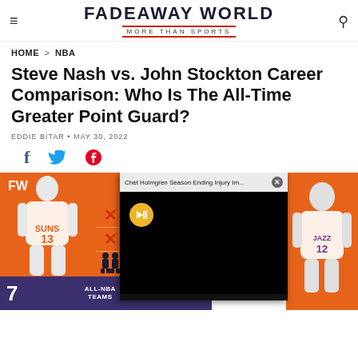FADEAWAY WORLD — MORE THAN SPORTS
HOME > NBA
Steve Nash vs. John Stockton Career Comparison: Who Is The All-Time Greater Point Guard?
EDDIE BITAR · MAY 30, 2022
[Figure (infographic): Social share icons: Facebook, Twitter, Pinterest]
[Figure (infographic): FW branded comparison infographic showing Steve Nash vs John Stockton with awards and All-NBA Teams rows. Nash: 7 All-NBA Teams, Stockton: 11. Video overlay showing Chet Holmgren Season Ending Injury with mute button and close button.]